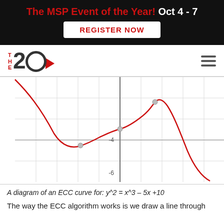The MSP Event of the Year! Oct 4 - 7 | REGISTER NOW
[Figure (logo): The 20 company logo with red play button]
[Figure (continuous-plot): A diagram of an ECC curve for y^2 = x^3 - 5x + 10, showing a cubic curve with a local minimum and local maximum, with gridlines, vertical y-axis, and labeled tick marks at -4 and -6]
A diagram of an ECC curve for: y^2 = x^3 – 5x +10
The way the ECC algorithm works is we draw a line through